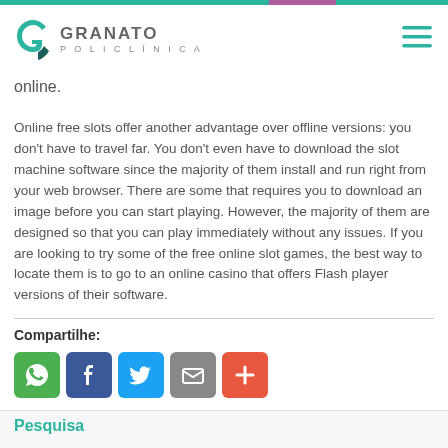GRANATO POLICLÍNICA
online.
Online free slots offer another advantage over offline versions: you don't have to travel far. You don't even have to download the slot machine software since the majority of them install and run right from your web browser. There are some that requires you to download an image before you can start playing. However, the majority of them are designed so that you can play immediately without any issues. If you are looking to try some of the free online slot games, the best way to locate them is to go to an online casino that offers Flash player versions of their software.
Compartilhe:
[Figure (infographic): Social sharing buttons: WhatsApp (green), Facebook (dark blue), Twitter (light blue), Email (grey), More/Plus (orange-red)]
Pesquisa